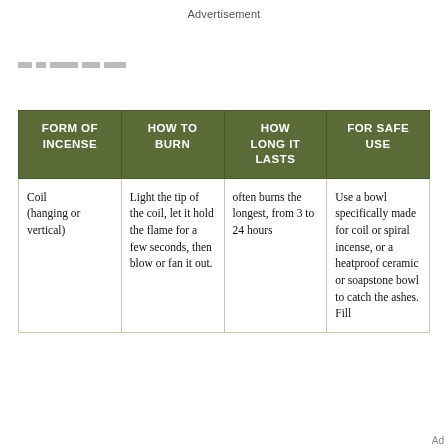Advertisement
| FORM OF INCENSE | HOW TO BURN | HOW LONG IT LASTS | FOR SAFE USE |
| --- | --- | --- | --- |
| Coil (hanging or vertical) | Light the tip of the coil, let it hold the flame for a few seconds, then blow or fan it out. | often burns the longest, from 3 to 24 hours | Use a bowl specifically made for coil or spiral incense, or a heatproof ceramic or soapstone bowl to catch the ashes. Fill |
Ad